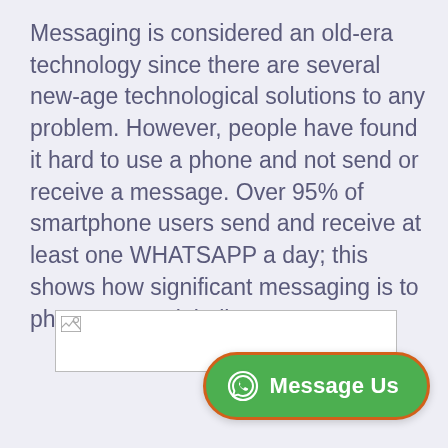Messaging is considered an old-era technology since there are several new-age technological solutions to any problem. However, people have found it hard to use a phone and not send or receive a message. Over 95% of smartphone users send and receive at least one WHATSAPP a day; this shows how significant messaging is to phone users globally.
[Figure (other): Broken/missing image placeholder shown as a small image icon inside a rectangle outline]
[Figure (other): WhatsApp 'Message Us' button — green rounded pill button with WhatsApp logo icon and white text 'Message Us', with an orange/red border outline]